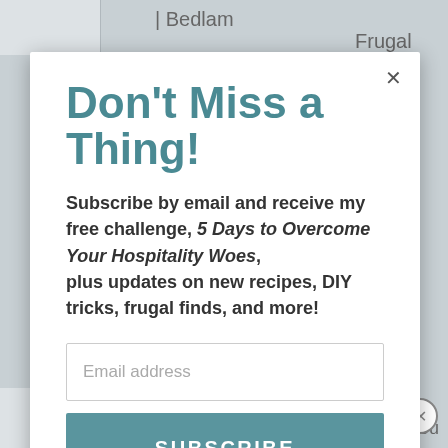| Bedlam
Frugal
Don't Miss a Thing!
Subscribe by email and receive my free challenge, 5 Days to Overcome Your Hospitality Woes, plus updates on new recipes, DIY tricks, frugal finds, and more!
Email address
SUBSCRIBE
rain and frost
prowess. If you